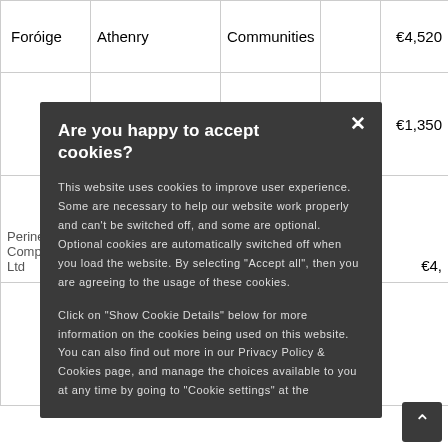|  |  |  |  |
| --- | --- | --- | --- |
| Foróige | Athenry | Communities |  | €4,520 |
|  |  |  |  | €1,350 |
| Perinet Company Ltd | Communities |  |  | €4, |
[Figure (screenshot): Cookie consent modal overlay with dark background. Title: 'Are you happy to accept cookies?' followed by explanatory text about cookie usage and a close (×) button. Also contains a scroll-to-top button at bottom right.]